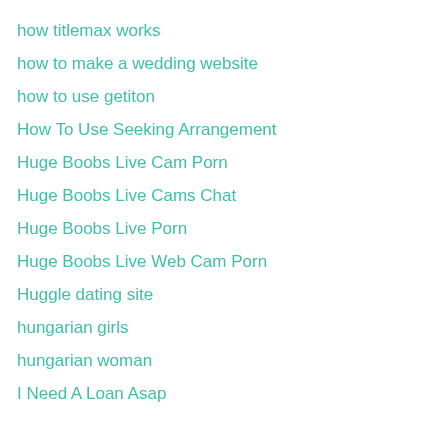how titlemax works
how to make a wedding website
how to use getiton
How To Use Seeking Arrangement
Huge Boobs Live Cam Porn
Huge Boobs Live Cams Chat
Huge Boobs Live Porn
Huge Boobs Live Web Cam Porn
Huggle dating site
hungarian girls
hungarian woman
I Need A Loan Asap